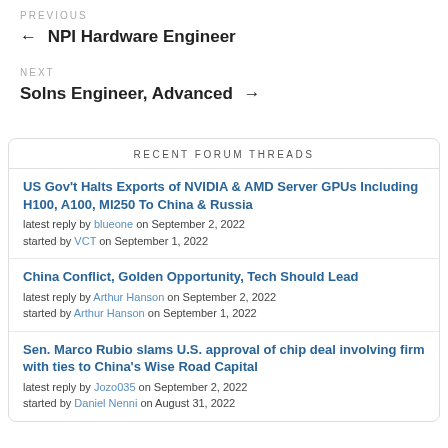PREVIOUS
← NPI Hardware Engineer
NEXT
Solns Engineer, Advanced →
RECENT FORUM THREADS
US Gov't Halts Exports of NVIDIA & AMD Server GPUs Including H100, A100, MI250 To China & Russia
latest reply by blueone on September 2, 2022
started by VCT on September 1, 2022
China Conflict, Golden Opportunity, Tech Should Lead
latest reply by Arthur Hanson on September 2, 2022
started by Arthur Hanson on September 1, 2022
Sen. Marco Rubio slams U.S. approval of chip deal involving firm with ties to China's Wise Road Capital
latest reply by Jozo035 on September 2, 2022
started by Daniel Nenni on August 31, 2022